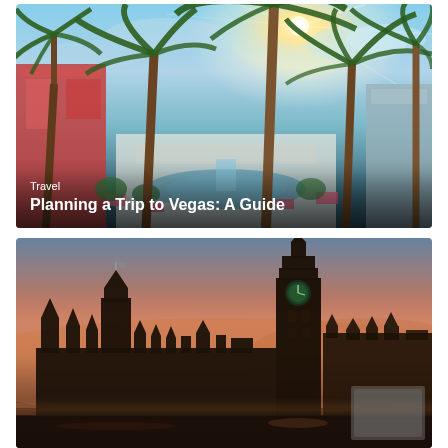[Figure (photo): Las Vegas hotel exterior with palm trees, pool area, bright sunburst in sky, red and white building elements]
Travel
Planning a Trip to Vegas: A Guide
[Figure (photo): London skyline at dusk with Big Ben (Elizabeth Tower) and Houses of Parliament silhouetted against an orange and purple sky]